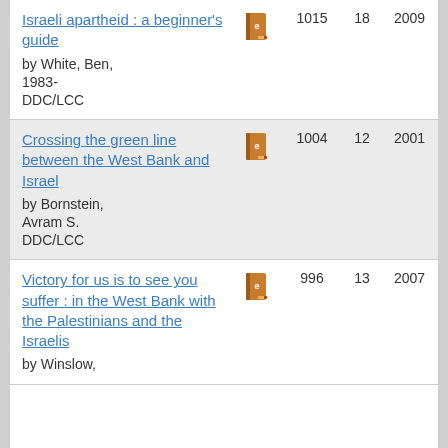| Title | Format | Holdings | Libraries | First year | Last year |
| --- | --- | --- | --- | --- | --- |
| Israeli apartheid : a beginner's guide
by White, Ben, 1983-
DDC/LCC | [book icon] | 1015 | 18 | 2009 | 2014 |
| Crossing the green line between the West Bank and Israel
by Bornstein, Avram S.
DDC/LCC | [book icon] | 1004 | 12 | 2001 | 2002 |
| Victory for us is to see you suffer : in the West Bank with the Palestinians and the Israelis
by Winslow, | [book icon] | 996 | 13 | 2007 | 2008 |